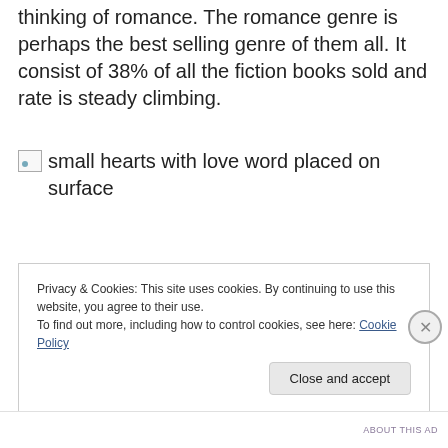thinking of romance. The romance genre is perhaps the best selling genre of them all. It consist of 38% of all the fiction books sold and rate is steady climbing.
[Figure (photo): Broken image placeholder with alt text: small hearts with love word placed on surface]
Privacy & Cookies: This site uses cookies. By continuing to use this website, you agree to their use.
To find out more, including how to control cookies, see here: Cookie Policy
Close and accept